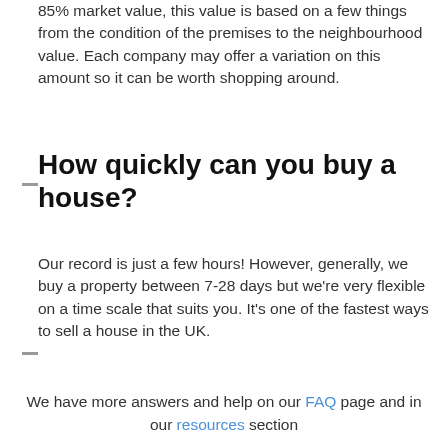85% market value, this value is based on a few things from the condition of the premises to the neighbourhood value. Each company may offer a variation on this amount so it can be worth shopping around.
How quickly can you buy a house?
Our record is just a few hours! However, generally, we buy a property between 7-28 days but we're very flexible on a time scale that suits you. It's one of the fastest ways to sell a house in the UK.
We have more answers and help on our FAQ page and in our resources section